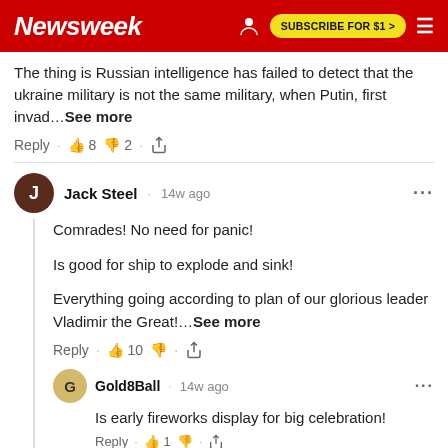Newsweek | SUBSCRIBE FOR $1 >
The thing is Russian intelligence has failed to detect that the ukraine military is not the same military, when Putin, first invad…See more
Reply · 👍 8 👎 2 · share
Jack Steel · 14w ago
Comrades! No need for panic!

Is good for ship to explode and sink!

Everything going according to plan of our glorious leader Vladimir the Great!…See more
Reply · 👍 10 👎 · share
Gold8Ball · 14w ago
Is early fireworks display for big celebration!
Reply · 👍 1 👎 · share